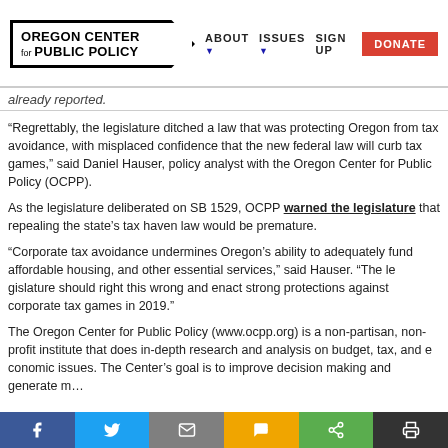Oregon Center for Public Policy | ABOUT | ISSUES | SIGN UP | DONATE
…already reported.
"Regrettably, the legislature ditched a law that was protecting Oregon from tax avoidance, with misplaced confidence that the new federal law will curb tax games," said Daniel Hauser, policy analyst with the Oregon Center for Public Policy (OCPP).
As the legislature deliberated on SB 1529, OCPP warned the legislature that repealing the state's tax haven law would be premature.
"Corporate tax avoidance undermines Oregon's ability to adequately fund affordable housing, and other essential services," said Hauser. "The legislature should right this wrong and enact strong protections against corporate tax games in 2019."
The Oregon Center for Public Policy (www.ocpp.org) is a non-partisan, non-profit institute that does in-depth research and analysis on budget, tax, and economic issues. The Center's goal is to improve decision making and generate m…